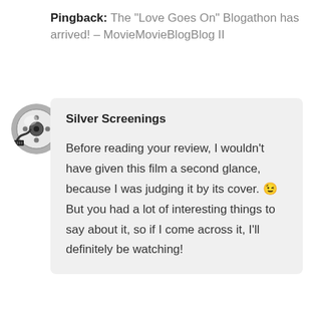Pingback: The “Love Goes On” Blogathon has arrived! – MovieMovieBlogBlog II
Silver Screenings
Before reading your review, I wouldn’t have given this film a second glance, because I was judging it by its cover. 😉 But you had a lot of interesting things to say about it, so if I come across it, I’ll definitely be watching!